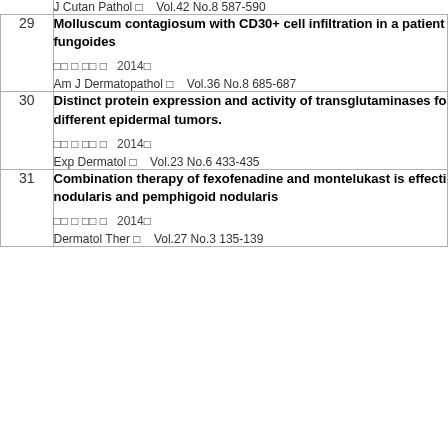J Cutan Pathol  Vol.42 No.8 587-590
29
Molluscum contagiosum with CD30+ cell infiltration in a patient fungoides
2014
Am J Dermatopathol  Vol.36 No.8 685-687
30
Distinct protein expression and activity of transglutaminases for different epidermal tumors.
2014
Exp Dermatol  Vol.23 No.6 433-435
31
Combination therapy of fexofenadine and montelukast is effecti nodularis and pemphigoid nodularis
2014
Dermatol Ther  Vol.27 No.3 135-139